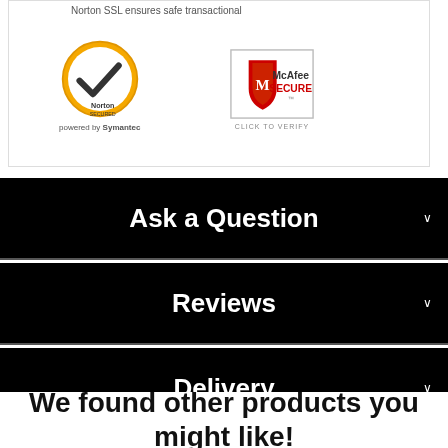[Figure (logo): Norton Secured powered by Symantec badge with golden checkmark circle]
[Figure (logo): McAfee SECURE shield logo with CLICK TO VERIFY text]
Ask a Question
Reviews
Delivery
We found other products you might like!